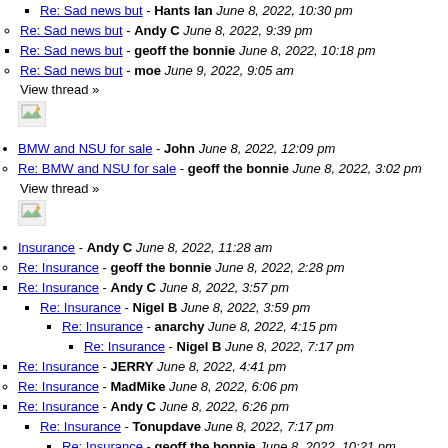Re: Sad news but - Hants Ian June 8, 2022, 10:30 pm
Re: Sad news but - Andy C June 8, 2022, 9:39 pm
Re: Sad news but - geoff the bonnie June 8, 2022, 10:18 pm
Re: Sad news but - moe June 9, 2022, 9:05 am
View thread »
[Figure (other): Broken image placeholder]
BMW and NSU for sale - John June 8, 2022, 12:09 pm
Re: BMW and NSU for sale - geoff the bonnie June 8, 2022, 3:02 pm
View thread »
[Figure (other): Broken image placeholder]
Insurance - Andy C June 8, 2022, 11:28 am
Re: Insurance - geoff the bonnie June 8, 2022, 2:28 pm
Re: Insurance - Andy C June 8, 2022, 3:57 pm
Re: Insurance - Nigel B June 8, 2022, 3:59 pm
Re: Insurance - anarchy June 8, 2022, 4:15 pm
Re: Insurance - Nigel B June 8, 2022, 7:17 pm
Re: Insurance - JERRY June 8, 2022, 4:41 pm
Re: Insurance - MadMike June 8, 2022, 6:06 pm
Re: Insurance - Andy C June 8, 2022, 6:26 pm
Re: Insurance - Tonupdave June 8, 2022, 7:17 pm
Re: Insurance - geoff the bonnie June 8, 2022, 10:21 pm
Re: Insurance - Beezabryan June 8, 2022, 10:56 pm
Re: Insurance - MadMike June 8, 2022, 11:30 pm